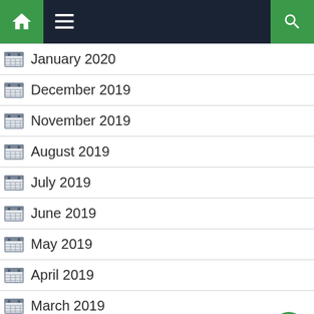Navigation bar with home, menu, and search icons
January 2020
December 2019
November 2019
August 2019
July 2019
June 2019
May 2019
April 2019
March 2019
February 2019